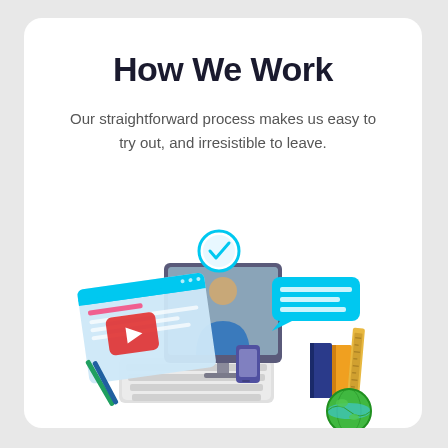How We Work
Our straightforward process makes us easy to try out, and irresistible to leave.
[Figure (illustration): Isometric illustration of a computer workstation with a monitor showing a person in a video call, a browser window with a YouTube-style video player, a cyan chat bubble, a cyan checkmark badge, a keyboard, a phone, books, a ruler, pencils, and a globe at the bottom right.]